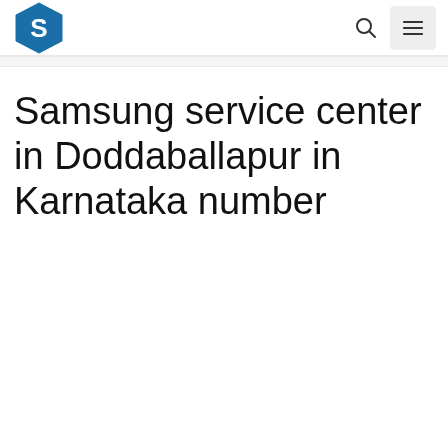S logo — Samsung service center website header with search and menu icons
Samsung service center in Doddaballapur in Karnataka number